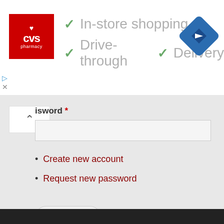[Figure (screenshot): CVS Pharmacy advertisement banner with logo, checkmarks for In-store shopping, Drive-through, and Delivery, plus a blue navigation diamond icon]
isword *
Create new account
Request new password
Log in